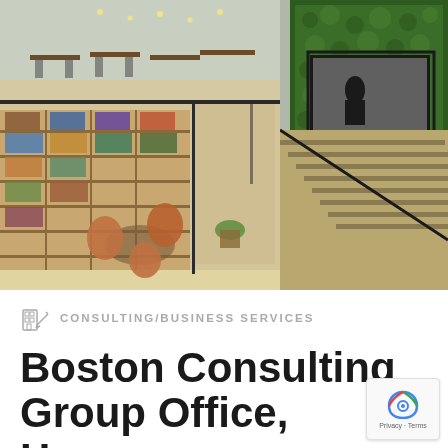[Figure (photo): Aerial/overhead interior view of a modern office space with a library/bookshelf wall, seating area with orange chairs, green living plant wall with large screen TV, staircase, glass walls, and warm wood floors. Two-level space with dining/cafe area visible on upper level.]
CONSULTING/BUSINESS SERVICES
Boston Consulting Group Office, Haryana